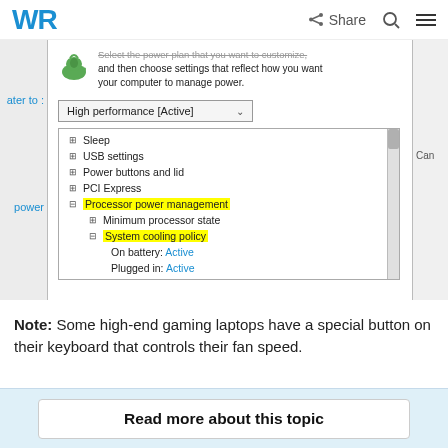WR | Share | Search | Menu
[Figure (screenshot): Windows Power Options dialog showing High performance [Active] selected in dropdown, with tree view listing: Sleep, USB settings, Power buttons and lid, PCI Express, Processor power management (highlighted yellow, expanded), Minimum processor state, System cooling policy (highlighted yellow, expanded), On battery: Active, Plugged in: Active. Left sidebar shows partially visible navigation. Right side shows partially visible Cancel button.]
Note: Some high-end gaming laptops have a special button on their keyboard that controls their fan speed.
Read more about this topic